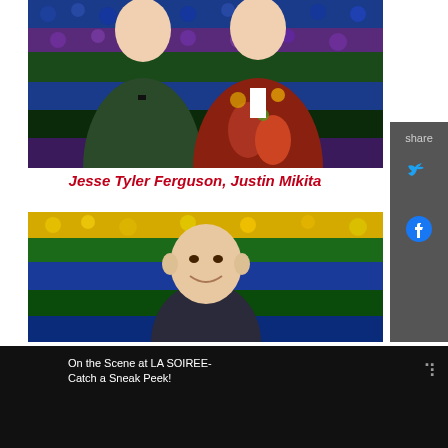[Figure (photo): Two men posing in front of a colorful floral backdrop of blue, purple, green roses. One wears a dark green tuxedo with bow tie, the other a colorful floral red/yellow blazer.]
Jesse Tyler Ferguson, Justin Mikita
[Figure (photo): A bald man smiling in front of a striped floral backdrop in yellow, green, and blue rows.]
On the Scene at LA SOIREE- Catch a Sneak Peek!